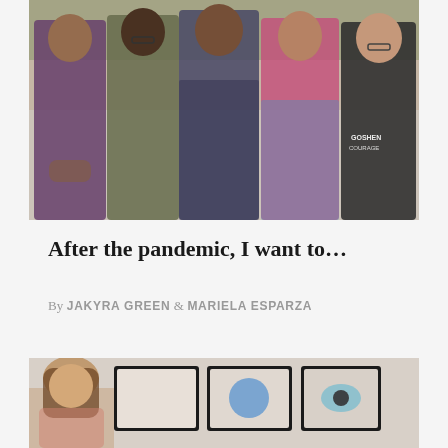[Figure (photo): Group photo of five young people (students) standing together outdoors against a brick wall background. From left to right: a young Black man in a purple Nike hoodie, a young Black woman with glasses and dreadlocks in a green vest, a young Latina woman with dark hair in a plaid shirt, a young woman in a pink Puma shirt with a denim jacket, and a young man with glasses in a black Goshen Courage jacket.]
After the pandemic, I want to…
By JAKYRA GREEN & MARIELA ESPARZA
[Figure (photo): Partial photo of a young woman with long brown hair sitting in front of framed artwork or display panels on a wall.]